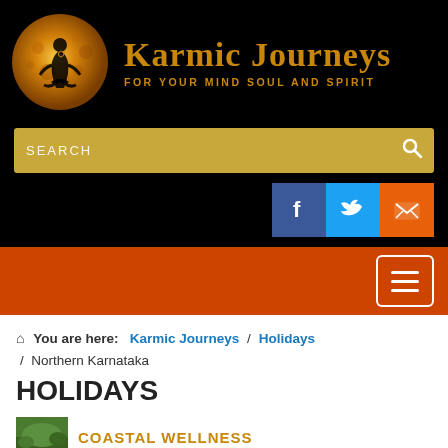[Figure (logo): Karmic Journeys logo: golden moon with silhouette of meditating figure, alongside brand name 'Karmic Journeys' and tagline 'FOR YOUR MIND SOUL AND SPIRIT' in gold on black background]
[Figure (screenshot): Gold search bar with text 'SEARCH' and magnifying glass icon]
[Figure (infographic): Three social media icon buttons: Facebook (blue), Twitter (cyan), Email/envelope (orange)]
[Figure (screenshot): Orange/red navigation bar with white hamburger menu button (three lines) on the right]
You are here: Karmic Journeys / Holidays / Northern Karnataka
HOLIDAYS
COASTAL WELLNESS